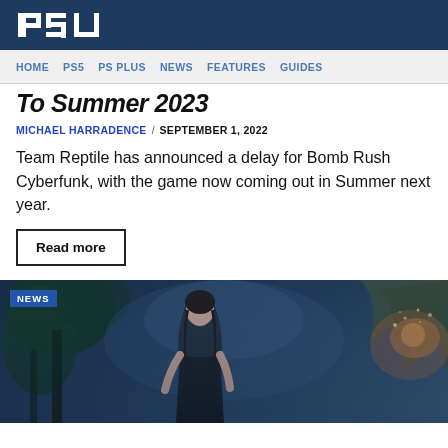PSU
HOME  PS5  PS PLUS  NEWS  FEATURES  GUIDES
To Summer 2023
MICHAEL HARRADENCE / SEPTEMBER 1, 2022
Team Reptile has announced a delay for Bomb Rush Cyberfunk, with the game now coming out in Summer next year.
Read more
[Figure (photo): Screenshot from a video game showing a female character with dark hair in a fantasy forest environment, with a creature or structure visible on the right side. A NEWS badge is shown in the top left corner.]